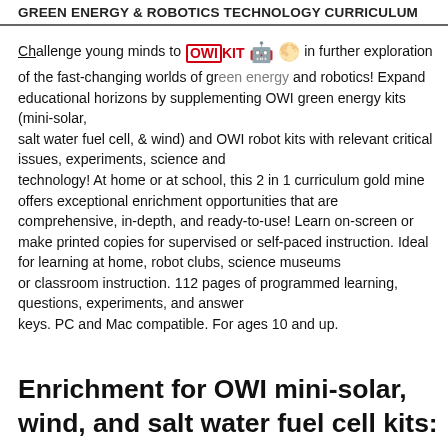GREEN ENERGY & ROBOTICS TECHNOLOGY CURRICULUM
Challenge young minds to [OWIKIT logo] in further exploration of the fast-changing worlds of green energy and robotics! Expand educational horizons by supplementing OWI green energy kits (mini-solar, salt water fuel cell, & wind) and OWI robot kits with relevant critical issues, experiments, science and technology! At home or at school, this 2 in 1 curriculum gold mine offers exceptional enrichment opportunities that are comprehensive, in-depth, and ready-to-use! Learn on-screen or make printed copies for supervised or self-paced instruction. Ideal for learning at home, robot clubs, science museums or classroom instruction. 112 pages of programmed learning, questions, experiments, and answer keys. PC and Mac compatible. For ages 10 and up.
Enrichment for OWI mini-solar, wind, and salt water fuel cell kits: